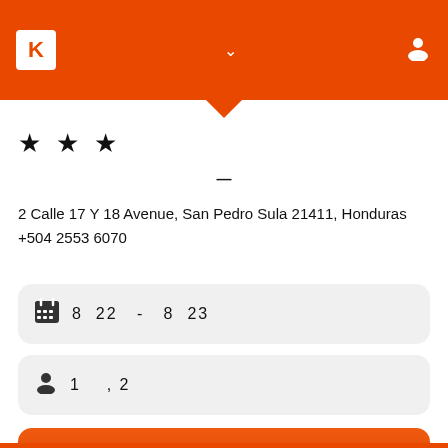K (logo header with person icon)
★ ★ ★
—
2 Calle 17 Y 18 Avenue, San Pedro Sula 21411, Honduras
+504 2553 6070
8  22  -  8  23
1  , 2
[Figure (other): Orange call-to-action button]